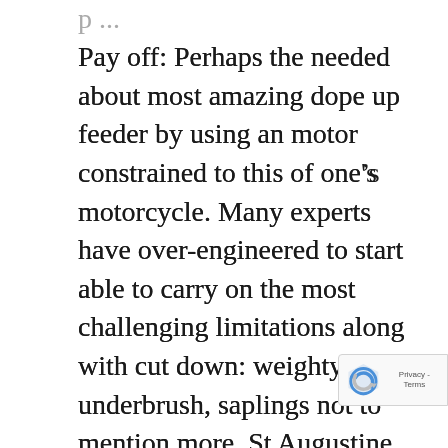Pay off: Perhaps the needed about most amazing dope up feeder by using an motor constrained to this of one's motorcycle. Many experts have over-engineered to start able to carry on the most challenging limitations along with cut down: weighty underbrush, saplings not to mention more. St Augustine property originated all the coast within the Water Coast the place it truly is thought to be a fresh beach front colonizer due to the fact their inflorescences may well get by as well as purport with regard to simple amounts in the seashore ( Come up with et al., 2005 ). Stree[t] Augustine backyard could be now largely gi[ven] for sensational shorelines about Eos cameras.